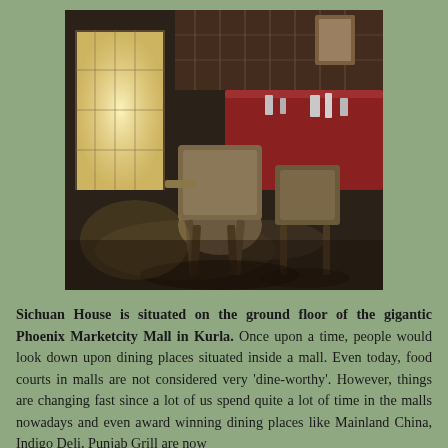[Figure (photo): Interior of Sichuan House restaurant showing chairs and dining tables with red tabletops, a bright window in the background, and a dark floor.]
Sichuan House is situated on the ground floor of the gigantic Phoenix Marketcity Mall in Kurla. Once upon a time, people would look down upon dining places situated inside a mall. Even today, food courts in malls are not considered very 'dine-worthy'. However, things are changing fast since a lot of us spend quite a lot of time in the malls nowadays and even award winning dining places like Mainland China, Indigo Deli, Punjab Grill are now